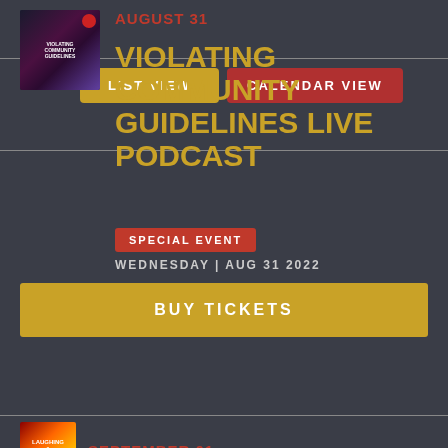LIST VIEW
CALENDAR VIEW
[Figure (photo): Thumbnail image of the Violating Community Guidelines podcast showing performers on stage in dark lighting]
AUGUST 31
VIOLATING COMMUNITY GUIDELINES LIVE PODCAST
SPECIAL EVENT
WEDNESDAY | AUG 31 2022
BUY TICKETS
[Figure (photo): Thumbnail image for the September 01 event]
SEPTEMBER 01